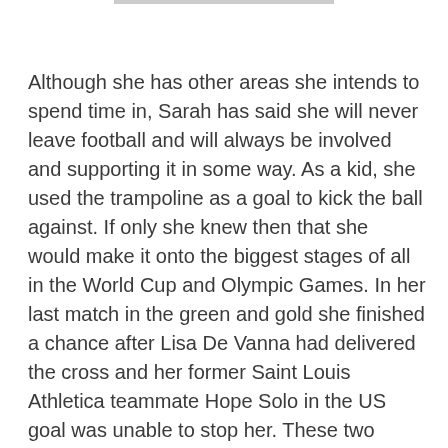Although she has other areas she intends to spend time in, Sarah has said she will never leave football and will always be involved and supporting it in some way. As a kid, she used the trampoline as a goal to kick the ball against. If only she knew then that she would make it onto the biggest stages of all in the World Cup and Olympic Games. In her last match in the green and gold she finished a chance after Lisa De Vanna had delivered the cross and her former Saint Louis Athletica teammate Hope Solo in the US goal was unable to stop her. These two players make it into her fantasy 5-a-side team (requiring her to also select herself) for the regular final question and two other retired Matildas stars also get the call-up. Here is Sarah to introduce